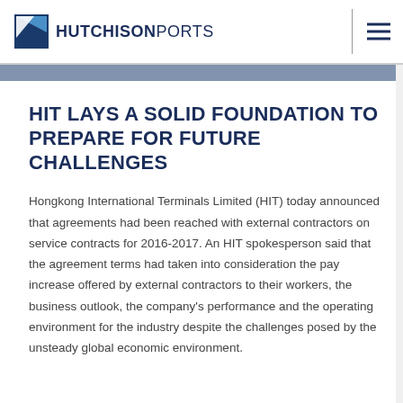HUTCHISON PORTS
HIT LAYS A SOLID FOUNDATION TO PREPARE FOR FUTURE CHALLENGES
Hongkong International Terminals Limited (HIT) today announced that agreements had been reached with external contractors on service contracts for 2016-2017. An HIT spokesperson said that the agreement terms had taken into consideration the pay increase offered by external contractors to their workers, the business outlook, the company's performance and the operating environment for the industry despite the challenges posed by the unsteady global economic environment.